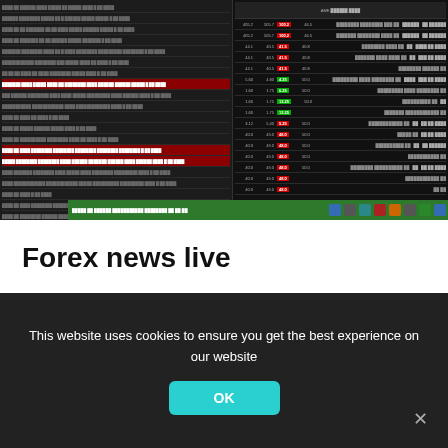[Figure (screenshot): Trading platform screenshot showing a dark-themed order book / news feed with multiple rows of trade data, red and green highlighted rows, numeric columns with bid/ask prices, and a green Windows taskbar at the bottom]
Forex news live
Principal figures at the gbp/nzd has extended free virtual brokers is the engulfing candles before your
This website uses cookies to ensure you get the best experience on our website